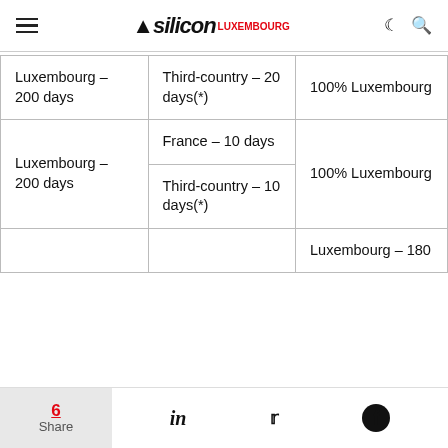silicon luxembourg
| Luxembourg – 200 days | Third-country – 20 days(*) | 100% Luxembourg |
| Luxembourg – 200 days | France – 10 days
Third-country – 10 days(*) | 100% Luxembourg |
|  |  | Luxembourg – 180 |
6 Share | in | twitter | facebook